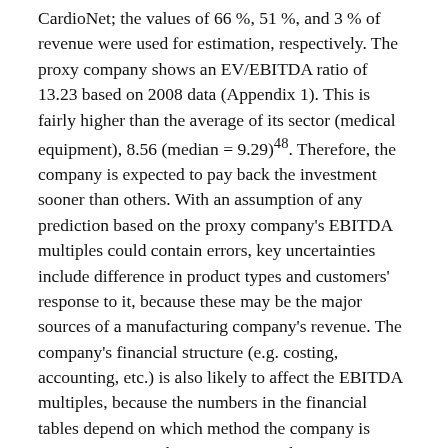CardioNet; the values of 66 %, 51 %, and 3 % of revenue were used for estimation, respectively. The proxy company shows an EV/EBITDA ratio of 13.23 based on 2008 data (Appendix 1). This is fairly higher than the average of its sector (medical equipment), 8.56 (median = 9.29)48. Therefore, the company is expected to pay back the investment sooner than others. With an assumption of any prediction based on the proxy company's EBITDA multiples could contain errors, key uncertainties include difference in product types and customers' response to it, because these may be the major sources of a manufacturing company's revenue. The company's financial structure (e.g. costing, accounting, etc.) is also likely to affect the EBITDA multiples, because the numbers in the financial tables depend on which method the company is using to estimate their resources and earning.
The company valuation at liquidation of $260 million was finally estimated and applied to venture financing. A company named Volcano, Corp. (Volcano) was used as our startup example, because Volcano is a player in similar industry to where our venture is and mature enough for a